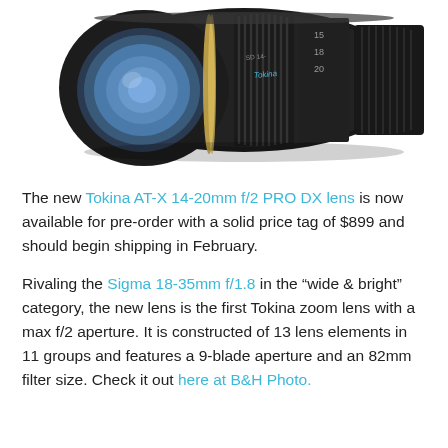[Figure (photo): Photo of a Tokina AT-X 14-20mm f/2 PRO DX camera lens, shown at an angle, black with gold accent ring and blue lens element visible.]
The new Tokina AT-X 14-20mm f/2 PRO DX lens is now available for pre-order with a solid price tag of $899 and should begin shipping in February.
Rivaling the Sigma 18-35mm f/1.8 in the "wide & bright" category, the new lens is the first Tokina zoom lens with a max f/2 aperture. It is constructed of 13 lens elements in 11 groups and features a 9-blade aperture and an 82mm filter size. Check it out here at B&H Photo.